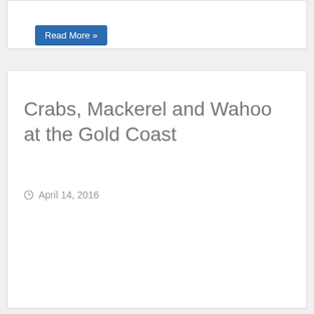Read More »
Crabs, Mackerel and Wahoo at the Gold Coast
April 14, 2016